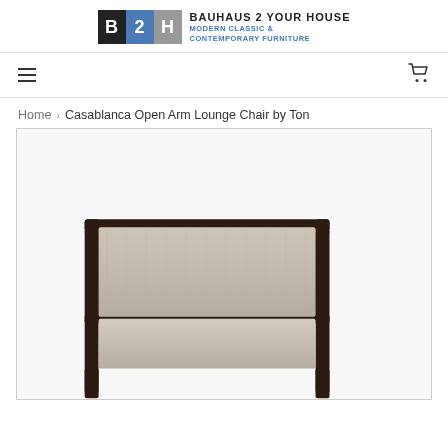BAUHAUS 2 YOUR HOUSE — MODERN CLASSIC & CONTEMPORARY FURNITURE
Navigation menu and cart icon
Home › Casablanca Open Arm Lounge Chair by Ton
[Figure (photo): Casablanca Open Arm Lounge Chair by Ton — a modern lounge chair with dark wooden open arm frame and light beige/taupe upholstered seat and back cushions, photographed at a slight angle showing depth.]